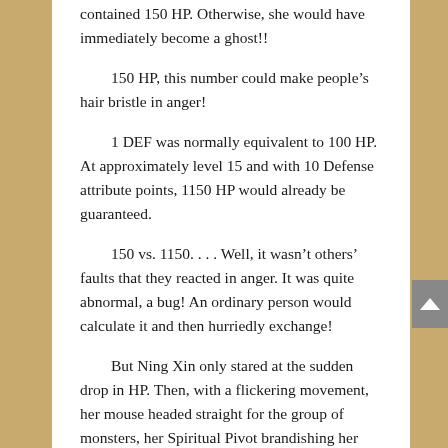contained 150 HP. Otherwise, she would have immediately become a ghost!!
150 HP, this number could make people’s hair bristle in anger!
1 DEF was normally equivalent to 100 HP. At approximately level 15 and with 10 Defense attribute points, 1150 HP would already be guaranteed.
150 vs. 1150. . . . Well, it wasn’t others’ faults that they reacted in anger. It was quite abnormal, a bug! An ordinary person would calculate it and then hurriedly exchange!
But Ning Xin only stared at the sudden drop in HP. Then, with a flickering movement, her mouse headed straight for the group of monsters, her Spiritual Pivot brandishing her weapon: a colored ribbon. Soon after,